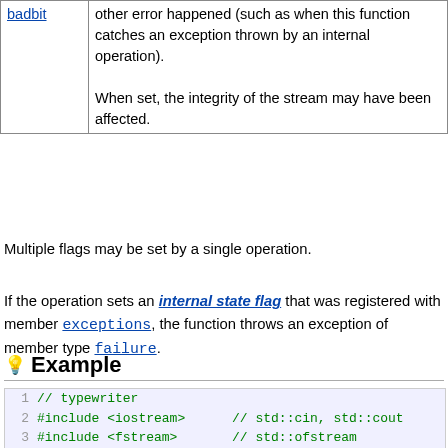|  |  |
| --- | --- |
| badbit | other error happened (such as when this function catches an exception thrown by an internal operation).
When set, the integrity of the stream may have been affected. |
Multiple flags may be set by a single operation.
If the operation sets an internal state flag that was registered with member exceptions, the function throws an exception of member type failure.
Example
[Figure (screenshot): C++ code block showing lines 1-9 of a typewriter example program with syntax highlighting]